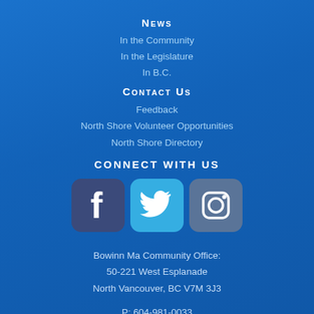News
In the Community
In the Legislature
In B.C.
Contact Us
Feedback
North Shore Volunteer Opportunities
North Shore Directory
Connect with us
[Figure (infographic): Three social media icons side by side: Facebook (dark blue-purple rounded square with white F logo), Twitter (light blue rounded square with white bird logo), Instagram (grey-blue rounded square with white camera logo)]
Bowinn Ma Community Office:
50-221 West Esplanade
North Vancouver, BC V7M 3J3
P: 604-981-0033
F: 604-981-0044